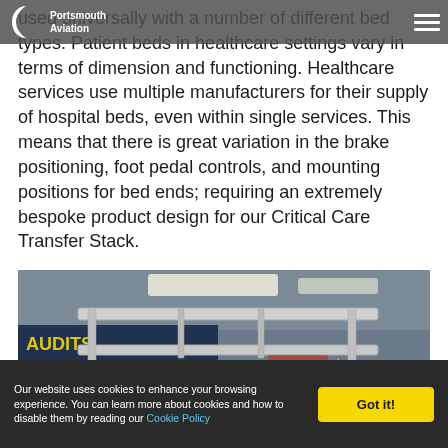Portsmouth Aviation
used universally with a number of different bed types. Patient beds in healthcare settings vary in terms of dimension and functioning. Healthcare services use multiple manufacturers for their supply of hospital beds, even within single services. This means that there is great variation in the brake positioning, foot pedal controls, and mounting positions for bed ends; requiring an extremely bespoke product design for our Critical Care Transfer Stack.
[Figure (photo): Interior photo showing a metal frame/rack structure mounted in what appears to be a hospital or transport environment, with a yellow star-shaped sign and other signage visible in the background.]
Our website uses cookies to enhance your browsing experience. You can learn more about cookies and how to disable them by reading our Cookie Policy